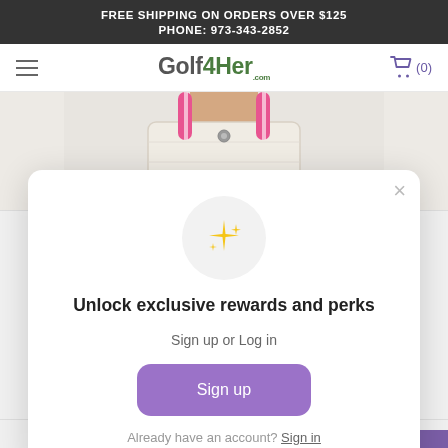FREE SHIPPING ON ORDERS OVER $125
PHONE: 973-343-2852
[Figure (logo): Golf4Her.com logo with hamburger menu and shopping cart icon showing (0) items]
[Figure (photo): Woman holding a cream/beige tote bag with pink stripes]
Unlock exclusive rewards and perks
Sign up or Log in
Sign up
Already have an account? Sign in